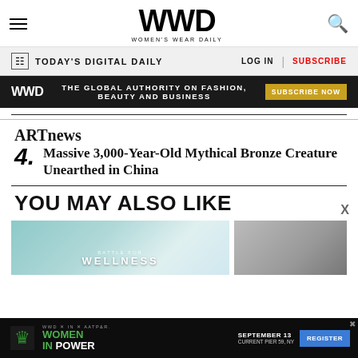WWD — Women's Wear Daily
TODAY'S DIGITAL DAILY  LOG IN  SUBSCRIBE
WWD THE GLOBAL AUTHORITY ON FASHION, BEAUTY AND BUSINESS  SUBSCRIBE NOW
ARTnews
4. Massive 3,000-Year-Old Mythical Bronze Creature Unearthed in China
YOU MAY ALSO LIKE
[Figure (photo): Wellness magazine cover thumbnail]
[Figure (photo): Gray textured image thumbnail]
[Figure (photo): Women In Power event advertisement banner at bottom]